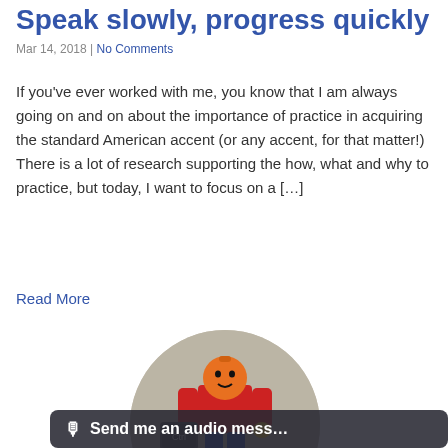Speak slowly, progress quickly
Mar 14, 2018 | No Comments
If you've ever worked with me, you know that I am always going on and on about the importance of practice in acquiring the standard American accent (or any accent, for that matter!) There is a lot of research supporting the how, what and why to practice, but today, I want to focus on a […]
Read More
[Figure (photo): A LEGO figure holding a keyboard key labeled 'Ctrl', positioned inside a circular cropped photo. At the bottom is a dark overlay bar with a microphone icon and text 'Send me an audio mess...']